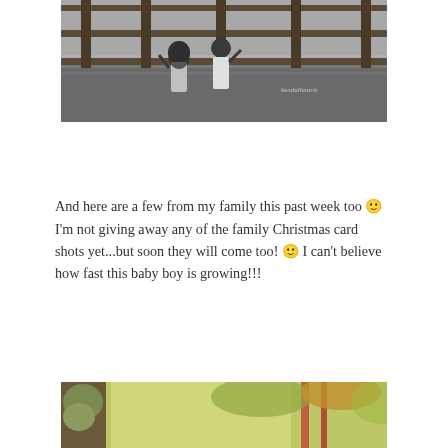[Figure (photo): Black and white photo of two young girls standing by a wooden fence in a field, viewed from behind, arms raised.]
And here are a few from my family this past week too 🙂 I'm not giving away any of the family Christmas card shots yet...but soon they will come too! 🙂 I can't believe how fast this baby boy is growing!!!
[Figure (photo): Color photo of trees with autumn foliage, partially visible at bottom of page.]